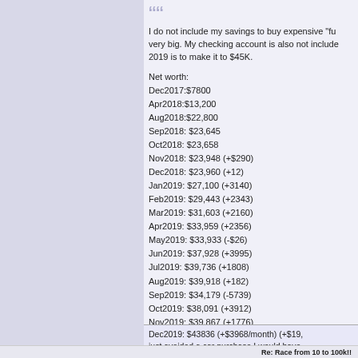I do not include my savings to buy expensive "fu... very big. My checking account is also not include... 2019 is to make it to $45K.
Net worth:
Dec2017:$7800
Apr2018:$13,200
Aug2018:$22,800
Sep2018: $23,645
Oct2018: $23,658
Nov2018: $23,948 (+$290)
Dec2018: $23,960 (+12)
Jan2019: $27,100 (+3140)
Feb2019: $29,443 (+2343)
Mar2019: $31,603 (+2160)
Apr2019: $33,959 (+2356)
May2019: $33,933 (-$26)
Jun2019: $37,928 (+3995)
Jul2019: $39,736 (+1808)
Aug2019: $39,918 (+182)
Sep2019: $34,179 (-5739)
Oct2019: $38,091 (+3912)
Nov2019: $39,867 (+1776)
Dec2019: $43836 (+$3968/month) (+$19,... just avoided a car purchase I would have... $70k
Re: Race from 10 to 100k!!